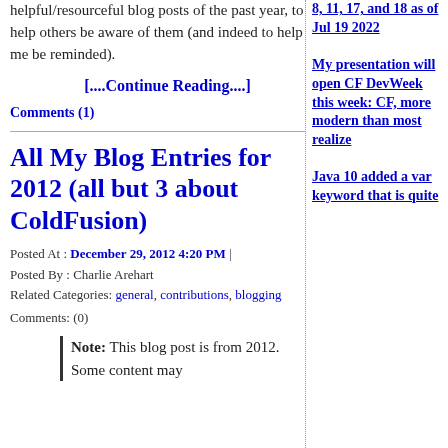helpful/resourceful blog posts of the past year, to help others be aware of them (and indeed to help me be reminded).
[....Continue Reading....]
Comments (1)
All My Blog Entries for 2012 (all but 3 about ColdFusion)
Posted At : December 29, 2012 4:20 PM | Posted By : Charlie Arehart Related Categories: general, contributions, blogging Comments: (0)
Note: This blog post is from 2012. Some content may
8, 11, 17, and 18 as of Jul 19 2022
My presentation will open CF DevWeek this week: CF, more modern than most realize
Java 10 added a var keyword that is quite